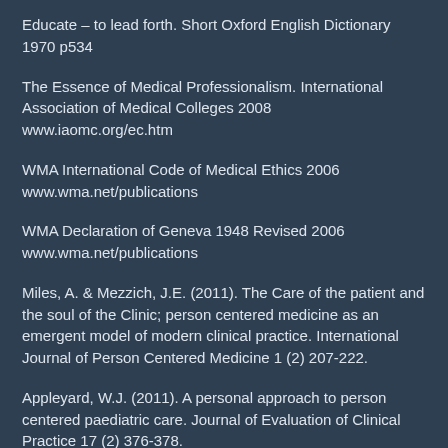Educate – to lead forth. Short Oxford English Dictionary 1970 p534
The Essence of Medical Professionalism. International Association of Medical Colleges 2008 www.iaomc.org/ec.htm
WMA International Code of Medical Ethics 2006 www.wma.net/publications
WMA Declaration of Geneva 1948 Revised 2006 www.wma.net/publications
Miles, A. & Mezzich, J.E. (2011). The Care of the patient and the soul of the Clinic; person centered medicine as an emergent model of modern clinical practice. International Journal of Person Centered Medicine 1 (2) 207-222.
Appleyard, W.J. (2011). A personal approach to person centered paediatric care. Journal of Evaluation of Clinical Practice 17 (2) 376-378.
Cloninger, C.E. & Cloninger, K.M. (2011). Person Centered Therapeutics. International Journal of Person